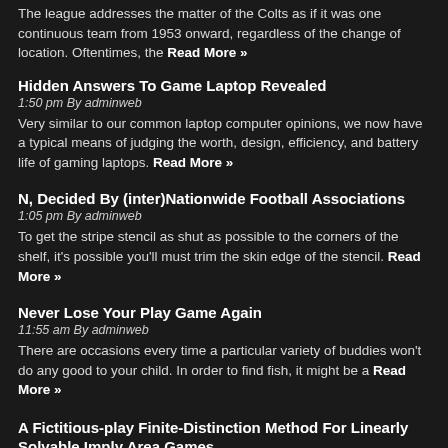The league addresses the matter of the Colts as if it was one continuous team from 1953 onward, regardless of the change of location. Oftentimes, the Read More »
Hidden Answers To Game Laptop Revealed
1:50 pm By adminweb
Very similar to our common laptop computer opinions, we now have a typical means of judging the worth, design, efficiency, and battery life of gaming laptops. Read More »
N, Decided By (inter)Nationwide Football Associations
1:05 pm By adminweb
To get the stripe stencil as shut as possible to the corners of the shelf, it's possible you'll must trim the skin edge of the stencil. Read More »
Never Lose Your Play Game Again
11:55 am By adminweb
There are occasions every time a particular variety of buddies won't do any good to your child. In order to find fish, it might be a Read More »
A Fictitious-play Finite-Distinction Method For Linearly Solvable Imply Area Games